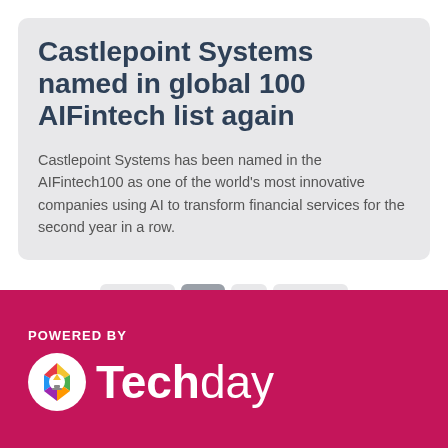Castlepoint Systems named in global 100 AIFintech list again
Castlepoint Systems has been named in the AIFintech100 as one of the world's most innovative companies using AI to transform financial services for the second year in a row.
[Figure (other): Pagination controls showing: Prev, 1 (active), 2, Next]
[Figure (logo): Techday logo on crimson/magenta background with POWERED BY label above. Logo features a circular colorful icon and the word Techday with Tech in bold white.]